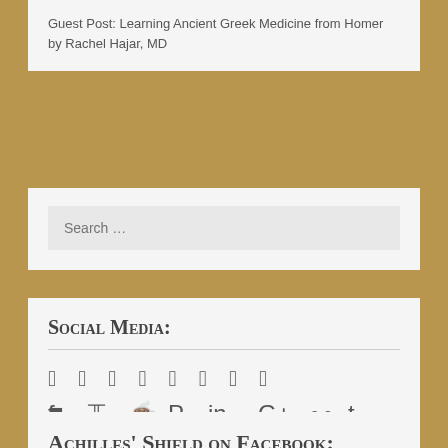Guest Post: Learning Ancient Greek Medicine from Homer by Rachel Hajar, MD
[Figure (screenshot): Search box with placeholder text 'Search …']
Social Media:
[Figure (infographic): Row of social media icons: Facebook, Twitter, Instagram, Pinterest, LinkedIn, Google+, Flickr, Tumblr]
Achilles' Shield on Facebook: